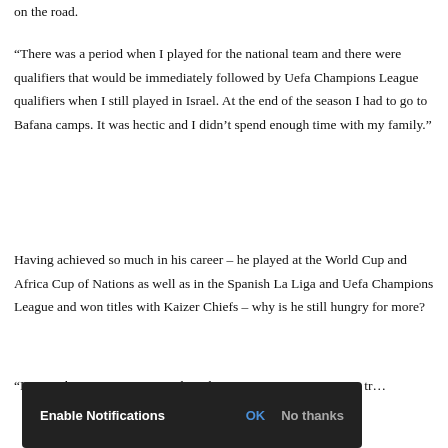on the road.
“There was a period when I played for the national team and there were qualifiers that would be immediately followed by Uefa Champions League qualifiers when I still played in Israel. At the end of the season I had to go to Bafana camps. It was hectic and I didn’t spend enough time with my family.”
Having achieved so much in his career – he played at the World Cup and Africa Cup of Nations as well as in the Spanish La Liga and Uefa Champions League and won titles with Kaizer Chiefs – why is he still hungry for more?
“Passion keeps me going, not the achievements. It is nice to win tr…
Enable Notifications  OK  No thanks